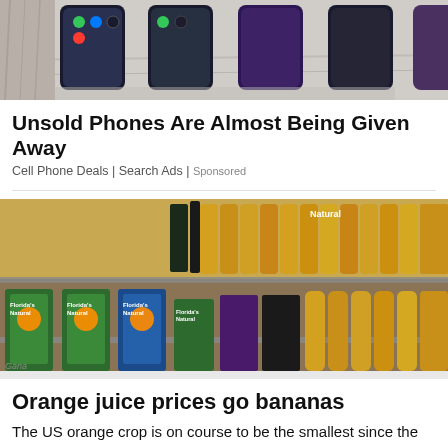[Figure (photo): Photo of multiple smartphones lined up on a white/marble surface]
Unsold Phones Are Almost Being Given Away
Cell Phone Deals | Search Ads | Sponsored
[Figure (photo): Photo of a supermarket aisle with shelves stocked with Florida's Natural orange juice cartons and bottles of orange juice]
Orange juice prices go bananas
The US orange crop is on course to be the smallest since the 1940s, which could lead to a reduction or an increase in...